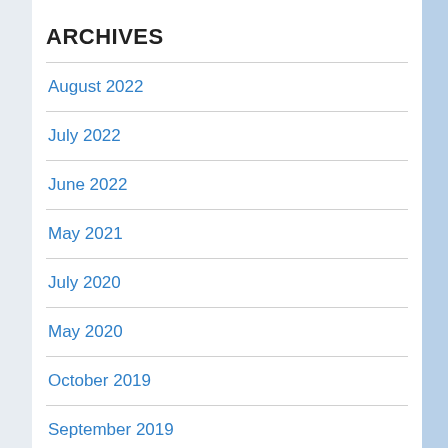ARCHIVES
August 2022
July 2022
June 2022
May 2021
July 2020
May 2020
October 2019
September 2019
March 2019
February 2019
January 2019